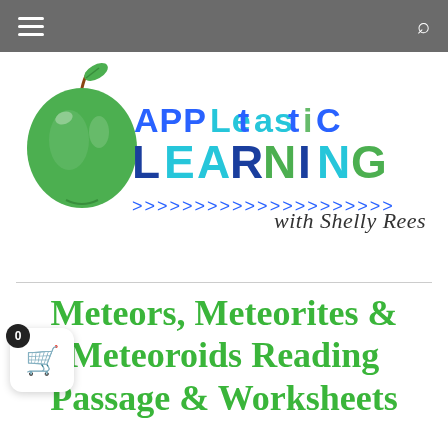Appletastic Learning with Shelly Rees - navigation bar
[Figure (logo): Appletastic Learning with Shelly Rees logo: green apple illustration on left, colorful text 'APPLetastiC LEARNING with Shelly Rees' with blue, teal, and green colors, arrow chevrons decorating bottom]
Meteors, Meteorites & Meteoroids Reading Passage & Worksheets